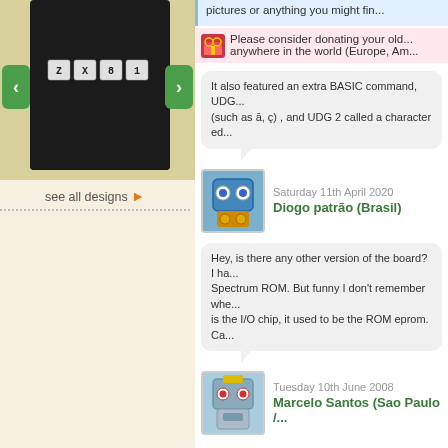[Figure (screenshot): T-shirt product image on dark background showing keyboard keys Z X 8 1]
see all designs ▶
pictures or anything you might fin...
Please consider donating your old... anywhere in the world (Europe, Am...
It also featured an extra BASIC command, UDG... (such as ā, ç) , and UDG 2 called a character ed...
Saturday 11th April 2020
Diogo patrão (Brasil)
Hey, is there any other version of the board? I ha... Spectrum ROM. But funny I don't remember whe... is the I/O chip, it used to be the ROM eprom. Ca...
Tuesday 10th June 2008
Marcelo Santos (Sao Paulo /...
+ post a comment